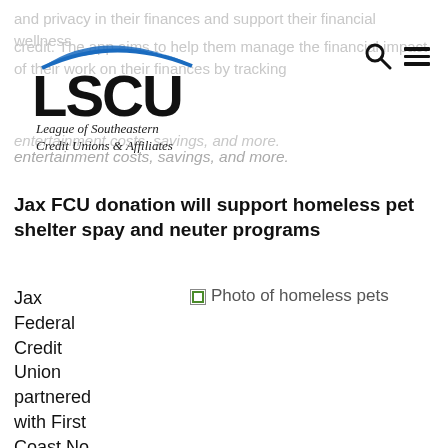LSCU — League of Southeastern Credit Unions & Affiliates
entertainment costs, savings, and more.
Jax FCU donation will support homeless pet shelter spay and neuter programs
Jax Federal Credit Union partnered with First Coast No
[Figure (photo): Photo of homeless pets (broken image placeholder)]